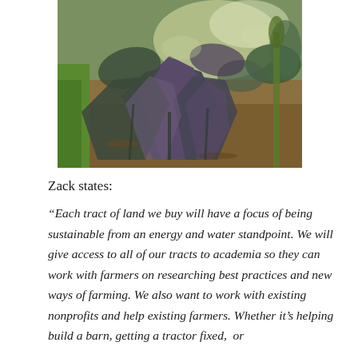[Figure (photo): Outdoor garden photo showing large leafy plants, likely cabbages or similar brassicas with dark purplish-green leaves, growing in a garden bed with soil and green grass visible at the left edge and other plants in the background under bright sunlight.]
Zack states:
“Each tract of land we buy will have a focus of being sustainable from an energy and water standpoint. We will give access to all of our tracts to academia so they can work with farmers on researching best practices and new ways of farming. We also want to work with existing nonprofits and help existing farmers. Whether it’s helping build a barn, getting a tractor fixed, or